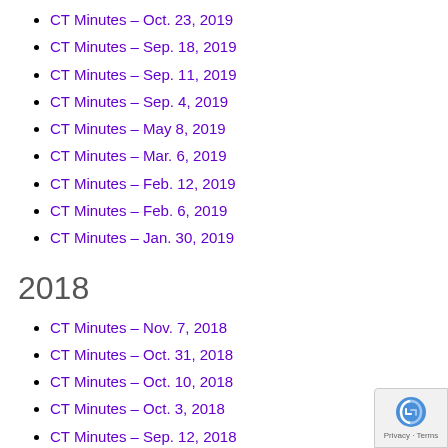CT Minutes – Oct. 23, 2019
CT Minutes – Sep. 18, 2019
CT Minutes – Sep. 11, 2019
CT Minutes – Sep. 4, 2019
CT Minutes – May 8, 2019
CT Minutes – Mar. 6, 2019
CT Minutes – Feb. 12, 2019
CT Minutes – Feb. 6, 2019
CT Minutes – Jan. 30, 2019
2018
CT Minutes – Nov. 7, 2018
CT Minutes – Oct. 31, 2018
CT Minutes – Oct. 10, 2018
CT Minutes – Oct. 3, 2018
CT Minutes – Sep. 12, 2018
CT Minutes – Aug. 29, 2018
CT Minutes – Aug. 8, 2018